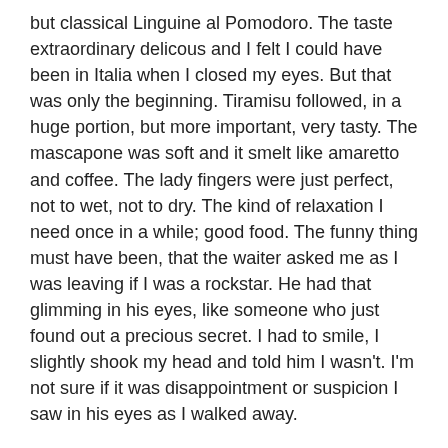but classical Linguine al Pomodoro. The taste extraordinary delicous and I felt I could have been in Italia when I closed my eyes. But that was only the beginning. Tiramisu followed, in a huge portion, but more important, very tasty. The mascapone was soft and it smelt like amaretto and coffee. The lady fingers were just perfect, not to wet, not to dry. The kind of relaxation I need once in a while; good food. The funny thing must have been, that the waiter asked me as I was leaving if I was a rockstar. He had that glimming in his eyes, like someone who just found out a precious secret. I had to smile, I slightly shook my head and told him I wasn't. I'm not sure if it was disappointment or suspicion I saw in his eyes as I walked away.
Viele von euch wissen bereits, dass ich Pasta liebe. In jeder Farbe und Form, mit fast allen möglichen Soßen. Während ich also in Singapur war, hatte ich das Glück ein echtes italienisches Restaurant zu finden. I genehmigte mir eine Portion der einfachen, aber klassischen Linguine al Pomodoro. Sie war außerordentlich gut und übertraf ich meine Au...